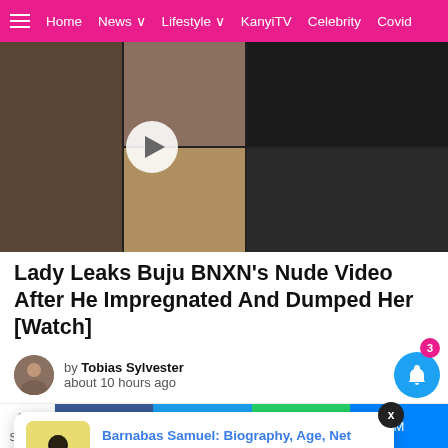Home  News  Lifestyle  KanyiTV  Celebrity  Covid
[Figure (photo): Hero image collage showing video thumbnail grid with a play button overlay, featuring multiple people including a man in white t-shirt looking at phone]
Lady Leaks Buju BNXN's Nude Video After He Impregnated And Dumped Her [Watch]
by Tobias Sylvester
about 10 hours ago
Barnabas Samuel: Biography, Age, Net worth,
20 minutes ago
20
Shares